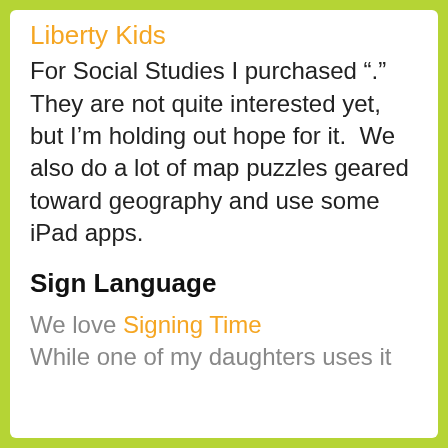Liberty Kids
For Social Studies I purchased "."  They are not quite interested yet, but I’m holding out hope for it.  We also do a lot of map puzzles geared toward geography and use some iPad apps.
Sign Language
We love Signing Time
While one of my daughters uses it